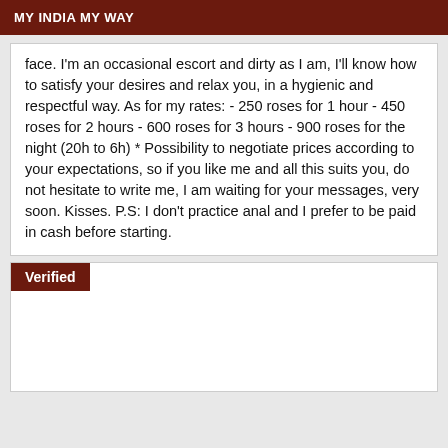MY INDIA MY WAY
face. I'm an occasional escort and dirty as I am, I'll know how to satisfy your desires and relax you, in a hygienic and respectful way. As for my rates: - 250 roses for 1 hour - 450 roses for 2 hours - 600 roses for 3 hours - 900 roses for the night (20h to 6h) * Possibility to negotiate prices according to your expectations, so if you like me and all this suits you, do not hesitate to write me, I am waiting for your messages, very soon. Kisses. P.S: I don't practice anal and I prefer to be paid in cash before starting.
Verified